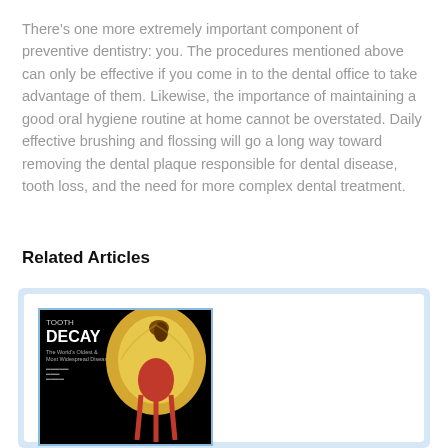There's one more extremely important component of preventive dentistry: you. The procedures mentioned above can only be effective if you come in to the dental office to take advantage of them. Likewise, the importance of maintaining a good oral hygiene routine at home cannot be overstated. Daily effective brushing and flossing will go a long way toward removing the dental plaque responsible for dental disease, tooth loss, and the need for more complex dental treatment.
Related Articles
[Figure (illustration): Book cover for 'Tooth Decay: The World's Oldest & Most Widespread Disease' showing a cross-section illustration of a tooth with decay on a black background.]